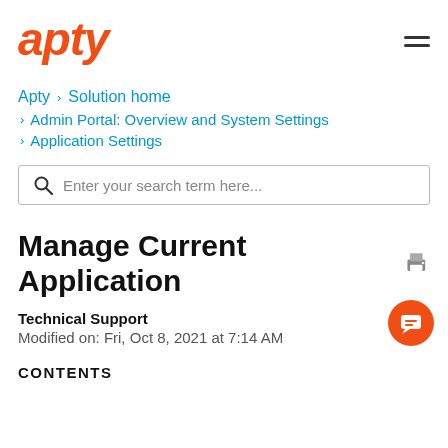apty
Apty › Solution home › Admin Portal: Overview and System Settings › Application Settings
Enter your search term here...
Manage Current Application
Technical Support
Modified on: Fri, Oct 8, 2021 at 7:14 AM
CONTENTS